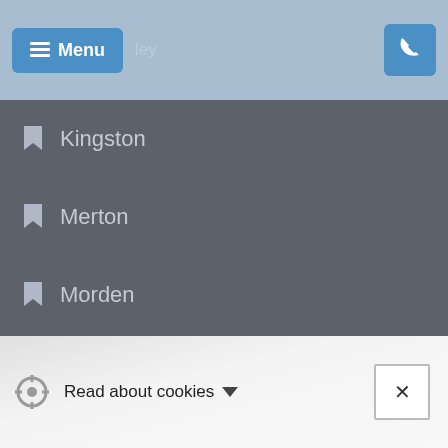Menu
Kingston
Merton
Morden
Putney Heath
Raynes Park
Southfields
South Wimbledon
Streatham
Sutton
Read about cookies ×